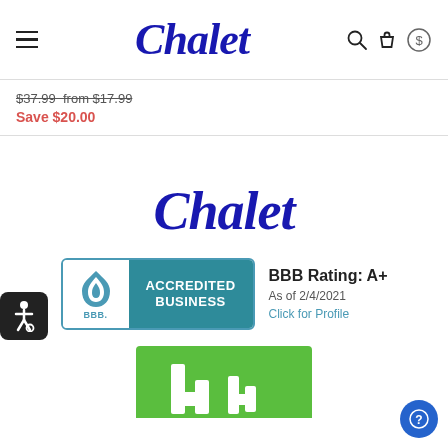[Figure (logo): Chalet script logo in dark blue in the navigation bar]
$37.99 from $17.99
Save $20.00
[Figure (logo): Chalet script logo in dark blue in the footer section]
[Figure (logo): BBB Accredited Business badge with rating A+ as of 2/4/2021]
[Figure (logo): Houzz logo (green, partially visible at bottom)]
[Figure (illustration): Accessibility icon (wheelchair symbol) in black rounded square]
[Figure (other): Help/question mark circle button in blue at bottom right]